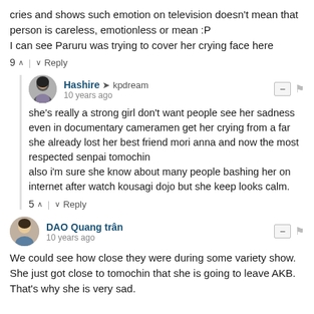cries and shows such emotion on television doesn't mean that person is careless, emotionless or mean :P
I can see Paruru was trying to cover her crying face here
9  Reply
Hashire → kpdream
10 years ago
she's really a strong girl don't want people see her sadness
even in documentary cameramen get her crying from a far
she already lost her best friend mori anna and now the most respected senpai tomochin
also i'm sure she know about many people bashing her on internet after watch kousagi dojo but she keep looks calm.
5  Reply
DAO Quang trân
10 years ago
We could see how close they were during some variety show. She just got close to tomochin that she is going to leave AKB. That's why she is very sad.